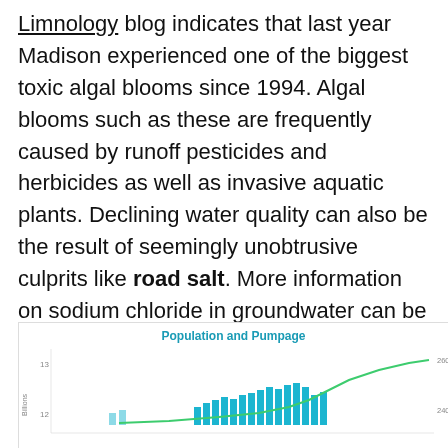Limnology blog indicates that last year Madison experienced one of the biggest toxic algal blooms since 1994. Algal blooms such as these are frequently caused by runoff pesticides and herbicides as well as invasive aquatic plants. Declining water quality can also be the result of seemingly unobtrusive culprits like road salt. More information on sodium chloride in groundwater can be found here.
[Figure (bar-chart): Bar chart showing population and pumpage data over time, with bars in teal/blue and a line in green. Y-axis left shows values around 12-13 (Billions), Y-axis right shows values around 240,000-260,000.]